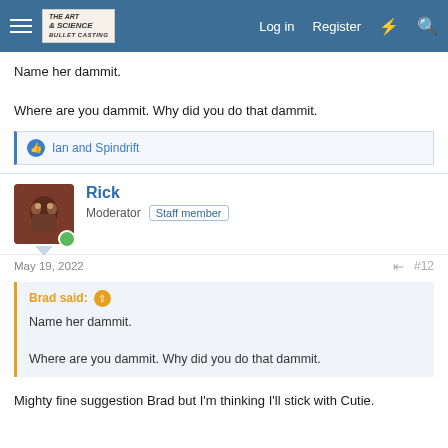The Art & Science of Bullet Casting | Log in | Register
Name her dammit.

Where are you dammit. Why did you do that dammit.
Ian and Spindrift
Rick
Moderator Staff member
May 19, 2022  #12
Brad said:
Name her dammit.

Where are you dammit. Why did you do that dammit.
Mighty fine suggestion Brad but I'm thinking I'll stick with Cutie.